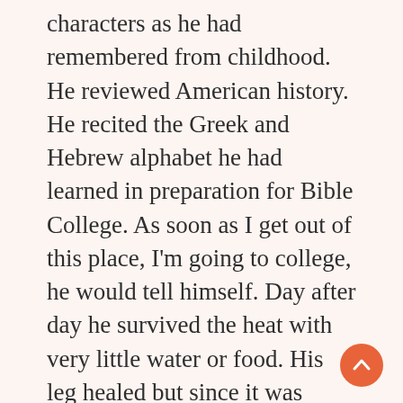characters as he had remembered from childhood. He reviewed American history. He recited the Greek and Hebrew alphabet he had learned in preparation for Bible College. As soon as I get out of this place, I'm going to college, he would tell himself. Day after day he survived the heat with very little water or food. His leg healed but since it was never set correctly he walked with a painful limp. At least the excruciating pain was gone and his leg had not been amputated. And he had not died of infection. To Brady, this was a miracle. Evidence of God with him, answering his prayers. He had often thought of